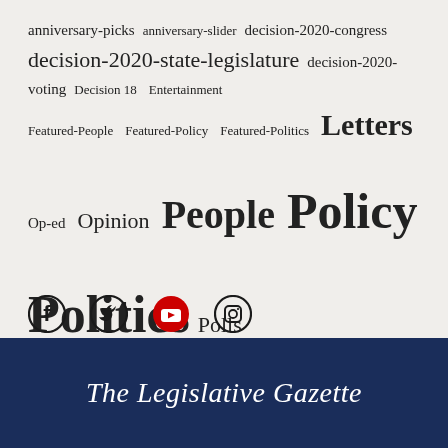anniversary-picks anniversary-slider decision-2020-congress decision-2020-state-legislature decision-2020-voting Decision 18 Entertainment Featured-People Featured-Policy Featured-Politics Letters Op-ed Opinion People Policy Politics Polls Publisher's Corner Videos
[Figure (infographic): Social media icons: Facebook, Twitter, YouTube, Instagram]
The Legislative Gazette